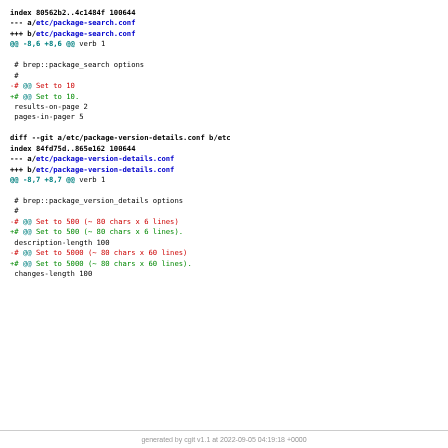index 80562b2..4c1484f 100644
--- a/etc/package-search.conf
+++ b/etc/package-search.conf
@@ -8,6 +8,6 @@ verb 1

 # brep::package_search options
 #
-# @@ Set to 10
+# @@ Set to 10.
 results-on-page 2
 pages-in-pager 5

diff --git a/etc/package-version-details.conf b/etc
index 84fd75d..865e162 100644
--- a/etc/package-version-details.conf
+++ b/etc/package-version-details.conf
@@ -8,7 +8,7 @@ verb 1

 # brep::package_version_details options
 #
-# @@ Set to 500 (~ 80 chars x 6 lines)
+# @@ Set to 500 (~ 80 chars x 6 lines).
 description-length 100
-# @@ Set to 5000 (~ 80 chars x 60 lines)
+# @@ Set to 5000 (~ 80 chars x 60 lines).
 changes-length 100
generated by cgit v1.1 at 2022-09-05 04:19:18 +0000